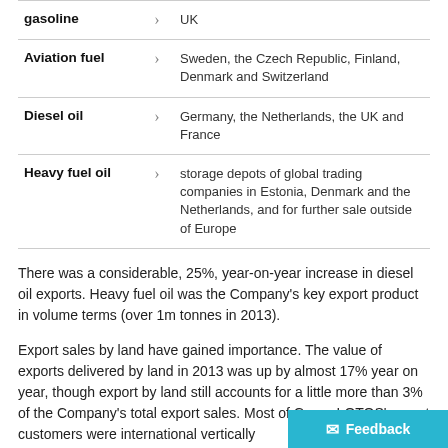| Fuel type |  | Destination |
| --- | --- | --- |
| gasoline | > | UK |
| Aviation fuel | > | Sweden, the Czech Republic, Finland, Denmark and Switzerland |
| Diesel oil | > | Germany, the Netherlands, the UK and France |
| Heavy fuel oil | > | storage depots of global trading companies in Estonia, Denmark and the Netherlands, and for further sale outside of Europe |
There was a considerable, 25%, year-on-year increase in diesel oil exports. Heavy fuel oil was the Company's key export product in volume terms (over 1m tonnes in 2013).
Export sales by land have gained importance. The value of exports delivered by land in 2013 was up by almost 17% year on year, though export by land still accounts for a little more than 3% of the Company's total export sales. Most of Grupa LOTOS' export customers were international vertically